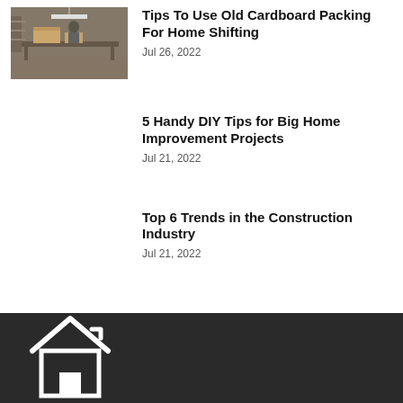[Figure (photo): Person working with cardboard boxes in a warehouse/packing environment]
Tips To Use Old Cardboard Packing For Home Shifting
Jul 26, 2022
5 Handy DIY Tips for Big Home Improvement Projects
Jul 21, 2022
Top 6 Trends in the Construction Industry
Jul 21, 2022
[Figure (logo): White house/home icon logo on dark background in footer]